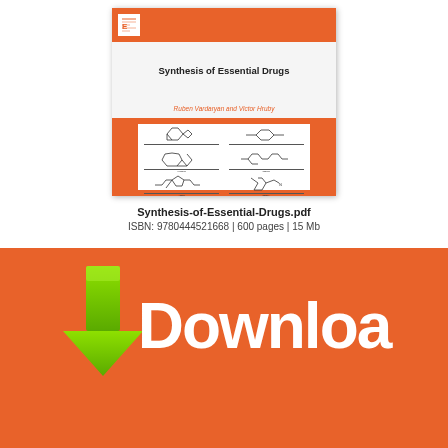[Figure (illustration): Book cover of 'Synthesis of Essential Drugs' by Ruben Vardaryan and Victor Hruby, published by Elsevier. Cover features orange top and bottom bars with white middle section showing title in bold. Bottom orange section contains a white box with six chemical structure diagrams arranged in a 2x3 grid.]
Synthesis-of-Essential-Drugs.pdf
ISBN: 9780444521668 | 600 pages | 15 Mb
[Figure (illustration): Download button graphic with green arrow icon and large white 'Downloa' text on orange background]